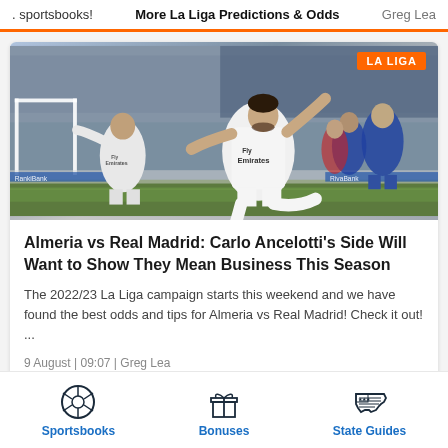. sportsbooks! | More La Liga Predictions & Odds | Greg Lea
[Figure (photo): Soccer players in white Real Madrid jerseys (Fly Emirates) competing on the field against players in blue and white. A 'LA LIGA' orange badge is in the top right corner of the image.]
Almeria vs Real Madrid: Carlo Ancelotti's Side Will Want to Show They Mean Business This Season
The 2022/23 La Liga campaign starts this weekend and we have found the best odds and tips for Almeria vs Real Madrid! Check it out! ...
9 August | 09:07 | Greg Lea
Sportsbooks | Bonuses | State Guides